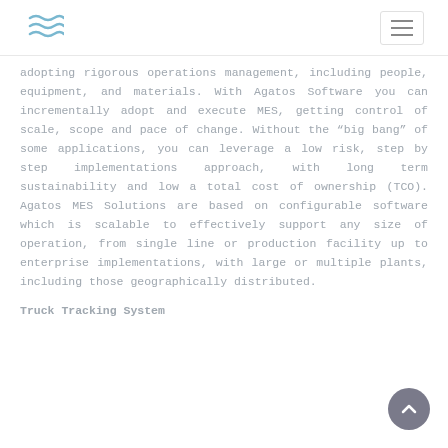Agatos Software logo and navigation menu
adopting rigorous operations management, including people, equipment, and materials. With Agatos Software you can incrementally adopt and execute MES, getting control of scale, scope and pace of change. Without the “big bang” of some applications, you can leverage a low risk, step by step implementations approach, with long term sustainability and low a total cost of ownership (TCO). Agatos MES Solutions are based on configurable software which is scalable to effectively support any size of operation, from single line or production facility up to enterprise implementations, with large or multiple plants, including those geographically distributed.
Truck Tracking System